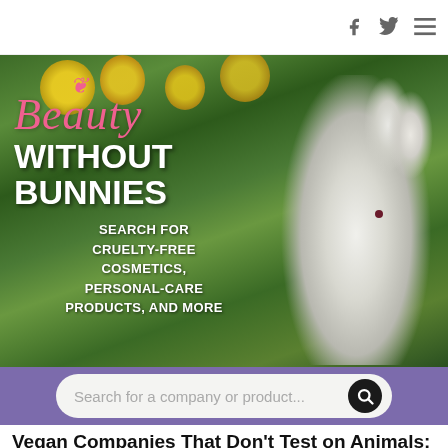f  🐦  ☰
[Figure (photo): Hero banner image: white rabbit in green meadow with yellow dandelion flowers. Text overlay reads 'Beauty WITHOUT BUNNIES — SEARCH FOR CRUELTY-FREE COSMETICS, PERSONAL-CARE PRODUCTS, AND MORE' with a bunny ear icon above 'Beauty' in pink script.]
Search for a company or product...
Vegan Companies That Don't Test on Animals: S